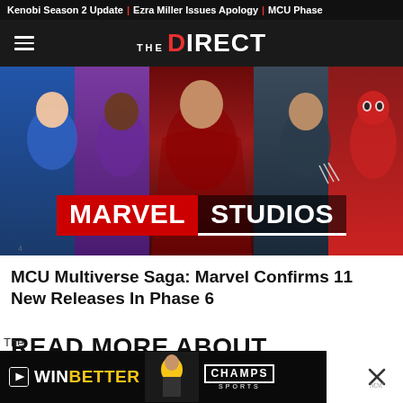Kenobi Season 2 Update | Ezra Miller Issues Apology | MCU Phase
THE DIRECT
[Figure (photo): Marvel Studios promotional image showing multiple MCU characters including Mr. Fantastic, a character in purple, Doctor Strange in center, Wolverine, and Deadpool, with the Marvel Studios logo overlaid at the bottom]
MCU Multiverse Saga: Marvel Confirms 11 New Releases In Phase 6
READ MORE ABOUT
[Figure (photo): Advertisement banner for Champs Sports showing a basketball player wearing a jersey, with text WIN BETTER and Champs Sports logo, plus an ad disclosure icon and close button]